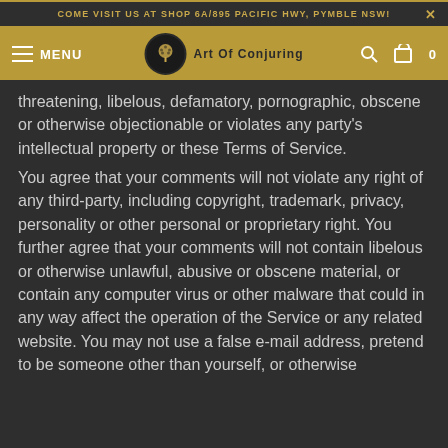COME VISIT US AT SHOP 6A/895 PACIFIC HWY, PYMBLE NSW!
MENU | Art Of Conjuring
threatening, libelous, defamatory, pornographic, obscene or otherwise objectionable or violates any party's intellectual property or these Terms of Service.
You agree that your comments will not violate any right of any third-party, including copyright, trademark, privacy, personality or other personal or proprietary right. You further agree that your comments will not contain libelous or otherwise unlawful, abusive or obscene material, or contain any computer virus or other malware that could in any way affect the operation of the Service or any related website. You may not use a false e-mail address, pretend to be someone other than yourself, or otherwise